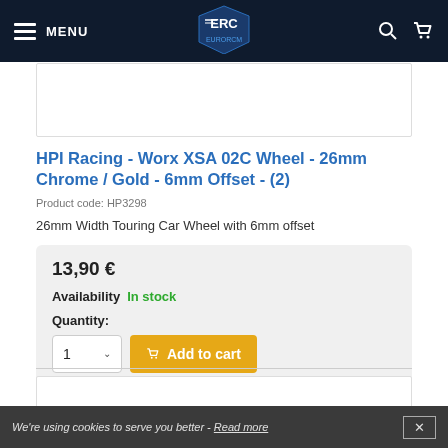MENU | EuroRC Logo | Search | Cart
[Figure (screenshot): Product image placeholder box]
HPI Racing - Worx XSA 02C Wheel - 26mm Chrome / Gold - 6mm Offset - (2)
Product code: HP3298
26mm Width Touring Car Wheel with 6mm offset
13,90 €
Availability  In stock
Quantity:
1  Add to cart
[Figure (screenshot): Additional content box placeholder]
We're using cookies to serve you better - Read more  ✕